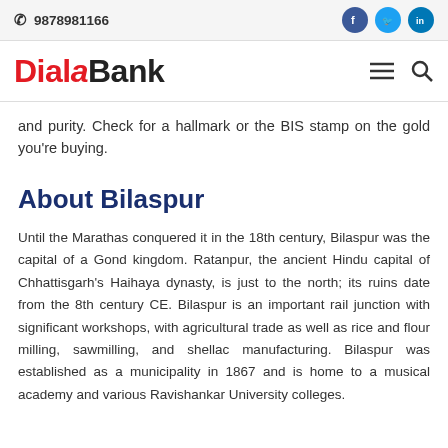9878981166
and purity. Check for a hallmark or the BIS stamp on the gold you're buying.
About Bilaspur
Until the Marathas conquered it in the 18th century, Bilaspur was the capital of a Gond kingdom. Ratanpur, the ancient Hindu capital of Chhattisgarh's Haihaya dynasty, is just to the north; its ruins date from the 8th century CE. Bilaspur is an important rail junction with significant workshops, with agricultural trade as well as rice and flour milling, sawmilling, and shellac manufacturing. Bilaspur was established as a municipality in 1867 and is home to a musical academy and various Ravishankar University colleges.